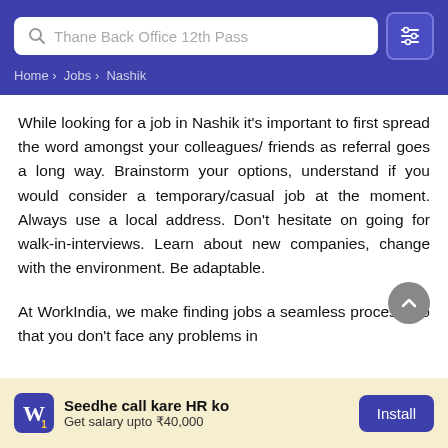[Figure (screenshot): Search bar with text 'Thane Back Office 12th Pass' and a filter/settings icon button on a purple header]
Home › Jobs › Nashik
While looking for a job in Nashik it's important to first spread the word amongst your colleagues/ friends as referral goes a long way. Brainstorm your options, understand if you would consider a temporary/casual job at the moment. Always use a local address. Don't hesitate on going for walk-in-interviews. Learn about new companies, change with the environment. Be adaptable.
At WorkIndia, we make finding jobs a seamless process, so that you don't face any problems in
[Figure (infographic): Bottom banner ad for WorkIndia app: logo, text 'Seedhe call kare HR ko / Get salary upto ₹40,000', and Install button]